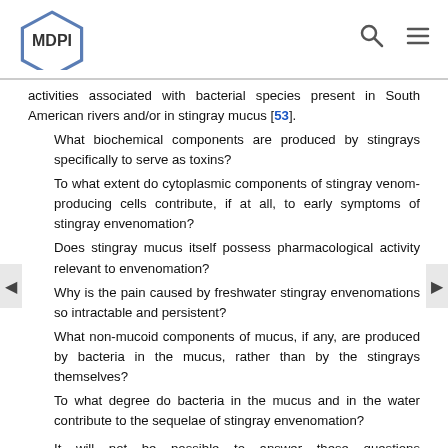MDPI
activities associated with bacterial species present in South American rivers and/or in stingray mucus [53].
What biochemical components are produced by stingrays specifically to serve as toxins?
To what extent do cytoplasmic components of stingray venom-producing cells contribute, if at all, to early symptoms of stingray envenomation?
Does stingray mucus itself possess pharmacological activity relevant to envenomation?
Why is the pain caused by freshwater stingray envenomations so intractable and persistent?
What non-mucoid components of mucus, if any, are produced by bacteria in the mucus, rather than by the stingrays themselves?
To what degree do bacteria in the mucus and in the water contribute to the sequelae of stingray envenomation?
It will not be possible to answer these questions conclusively without careful transcriptomic and genomic studies